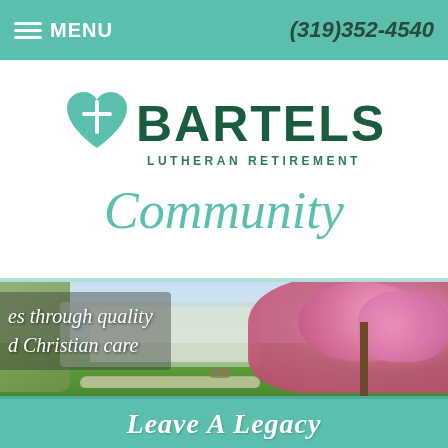MENU  (319)352-4540
[Figure (logo): Bartels Lutheran Retirement Community logo with teal heart and cross icon, bold dark green BARTELS text, LUTHERAN RETIREMENT in small caps, and Community in italic script]
[Figure (photo): Outdoor scenic photo showing green lawn, trees with pink blossoms on the right, and a building in the background with text overlay reading 'es through quality' and 'd Christian care']
es through quality
d Christian care
Leave A Legacy